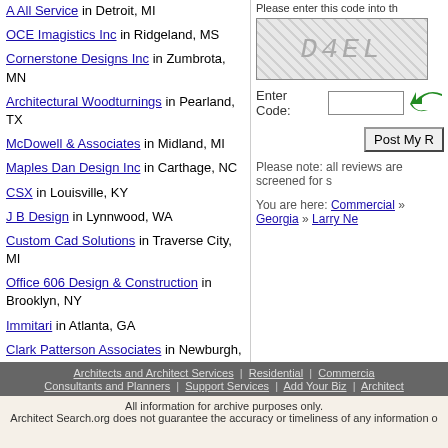A All Service in Detroit, MI
OCE Imagistics Inc in Ridgeland, MS
Cornerstone Designs Inc in Zumbrota, MN
Architectural Woodturnings in Pearland, TX
McDowell & Associates in Midland, MI
Maples Dan Design Inc in Carthage, NC
CSX in Louisville, KY
J B Design in Lynnwood, WA
Custom Cad Solutions in Traverse City, MI
Office 606 Design & Construction in Brooklyn, NY
Immitari in Atlanta, GA
Clark Patterson Associates in Newburgh, NY
George Philip in Pine Plains, NY
Please enter this code into the box below:
[Figure (other): CAPTCHA image showing text D4EL...]
Enter Code:
Post My ...
Please note: all reviews are screened for s...
You are here: Commercial » Georgia » Larry Ne...
Architects and Architect Services | Residential | Commercia... | Consultants and Planners | Support Services | Add Your Biz | Architect...
All information for archive purposes only. Architect Search.org does not guarantee the accuracy or timeliness of any information...